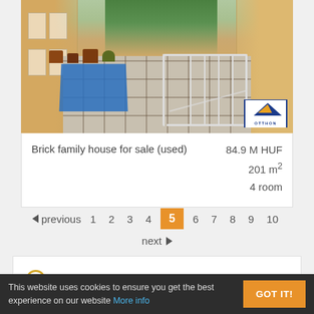[Figure (photo): Photo of a terrace/courtyard of a brick family house with tiled floor, blue tablecloth table, potted plants, white railing, and a yellow building in the background. An Otthon logo badge is in the bottom right corner.]
Brick family house for sale (used)
84.9 M HUF
201 m²
4 room
◄ previous  1  2  3  4  5  6  7  8  9  10
next ►
Modify search
This website uses cookies to ensure you get the best experience on our website More info
GOT IT!